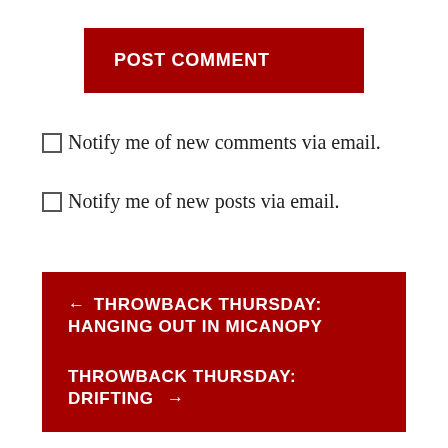POST COMMENT
Notify me of new comments via email.
Notify me of new posts via email.
← THROWBACK THURSDAY: HANGING OUT IN MICANOPY
THROWBACK THURSDAY: DRIFTING →